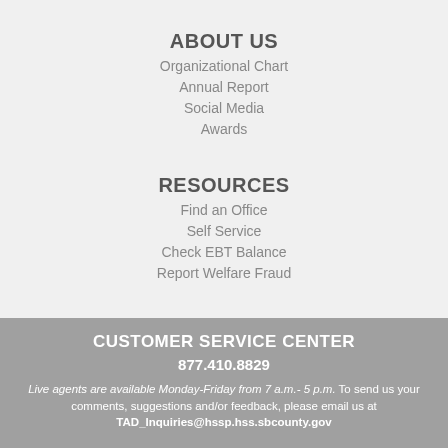ABOUT US
Organizational Chart
Annual Report
Social Media
Awards
RESOURCES
Find an Office
Self Service
Check EBT Balance
Report Welfare Fraud
CUSTOMER SERVICE CENTER
877.410.8829
Live agents are available Monday-Friday from 7 a.m.- 5 p.m. To send us your comments, suggestions and/or feedback, please email us at TAD_Inquiries@hssp.hss.sbcounty.gov